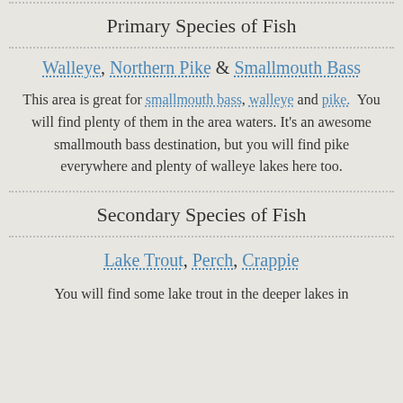Primary Species of Fish
Walleye, Northern Pike & Smallmouth Bass
This area is great for smallmouth bass, walleye and pike. You will find plenty of them in the area waters. It's an awesome smallmouth bass destination, but you will find pike everywhere and plenty of walleye lakes here too.
Secondary Species of Fish
Lake Trout, Perch, Crappie
You will find some lake trout in the deeper lakes in